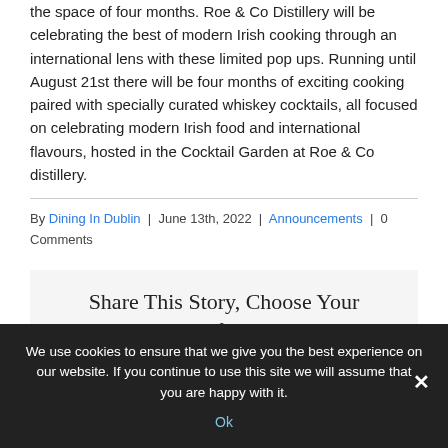the space of four months. Roe & Co Distillery will be celebrating the best of modern Irish cooking through an international lens with these limited pop ups. Running until August 21st there will be four months of exciting cooking paired with specially curated whiskey cocktails, all focused on celebrating modern Irish food and international flavours, hosted in the Cocktail Garden at Roe & Co distillery.
By Dining In Dublin | June 13th, 2022 | Announcements | 0 Comments
Share This Story, Choose Your Platform!
We use cookies to ensure that we give you the best experience on our website. If you continue to use this site we will assume that you are happy with it.
Ok